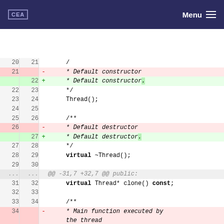cea  Menu
[Figure (screenshot): Code diff view showing changes to Thread class documentation comments, Thread() constructor, ~Thread() destructor, and clone() method, with added periods to comment lines]
20  21     /
21        -    * Default constructor
    22  +    * Default constructor.
22  23        */
23  24        Thread();
24  25
25  26        /**
26        -    * Default destructor
    27  +    * Default destructor.
27  28        */
28  29        virtual ~Thread();
29  30
...  ...     @@ -31,7 +32,7 @@ public:
31  32        virtual Thread* clone() const;
32  33
33  34        /**
34        -    * Main function executed by the thread
    35  +    * Main function executed by the thread.
35  36        */